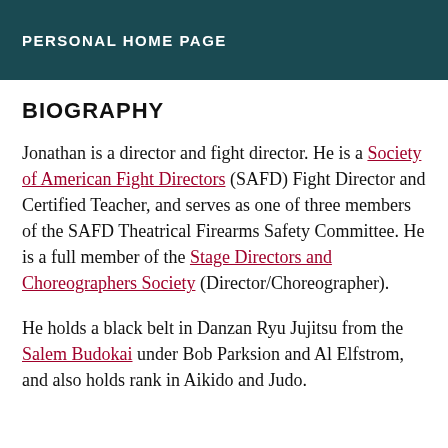PERSONAL HOME PAGE
BIOGRAPHY
Jonathan is a director and fight director. He is a Society of American Fight Directors (SAFD) Fight Director and Certified Teacher, and serves as one of three members of the SAFD Theatrical Firearms Safety Committee. He is a full member of the Stage Directors and Choreographers Society (Director/Choreographer).
He holds a black belt in Danzan Ryu Jujitsu from the Salem Budokai under Bob Parksion and Al Elfstrom, and also holds rank in Aikido and Judo.